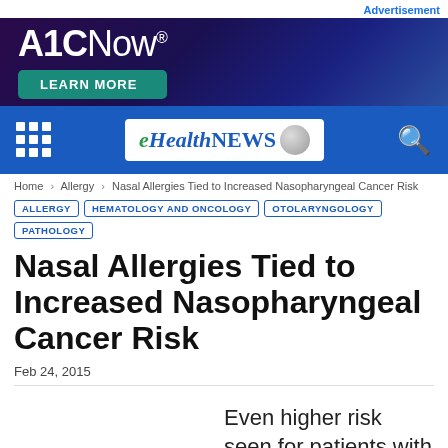Advertisement
[Figure (logo): A1CNow® advertisement banner with dark purple/blue gradient background, white bold A1CNow® logo text, and a teal 'LEARN MORE' button]
[Figure (logo): eHealthNEWS navigation bar with blue background, grid menu icon on left, eHealthNEWS logo in center white box, and search icon on right]
Home › Allergy › Nasal Allergies Tied to Increased Nasopharyngeal Cancer Risk
ALLERGY
HEMATOLOGY AND ONCOLOGY
OTOLARYNGOLOGY
PATHOLOGY
Nasal Allergies Tied to Increased Nasopharyngeal Cancer Risk
Feb 24, 2015
Even higher risk seen for patients with repeated visits for